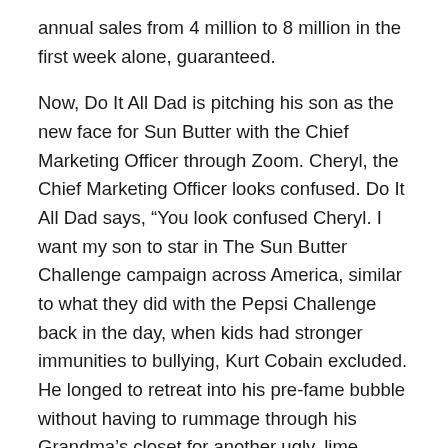annual sales from 4 million to 8 million in the first week alone, guaranteed.
Now, Do It All Dad is pitching his son as the new face for Sun Butter with the Chief Marketing Officer through Zoom. Cheryl, the Chief Marketing Officer looks confused. Do It All Dad says, “You look confused Cheryl. I want my son to star in The Sun Butter Challenge campaign across America, similar to what they did with the Pepsi Challenge back in the day, when kids had stronger immunities to bullying, Kurt Cobain excluded. He longed to retreat into his pre-fame bubble without having to rummage through his Grandma’s closet for another ugly, lime sweater to wear at the MTV Music Awards, I get it.” Cheryl, the CMO for Sun Butter Gold products says, “So, where’s Art Show USA? How do you expect me to hire you 2 as a packaged deal to do the creative and performing in